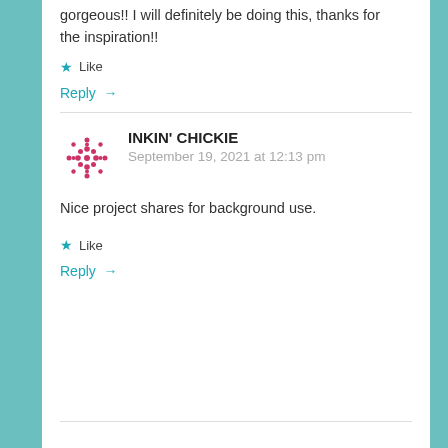gorgeous!! I will definitely be doing this, thanks for the inspiration!!
Like
Reply →
INKIN' CHICKIE
September 19, 2021 at 12:13 pm
Nice project shares for background use.
Like
Reply →